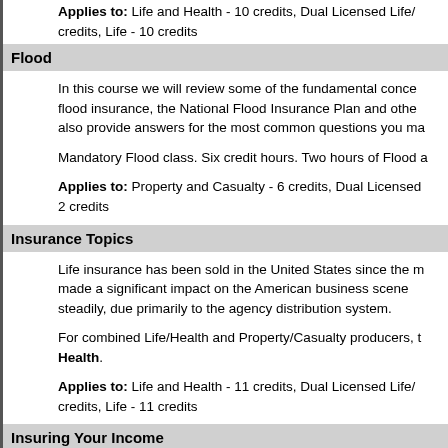Applies to: Life and Health - 10 credits, Dual Licensed Life/... credits, Life - 10 credits
Flood
In this course we will review some of the fundamental concepts of flood insurance, the National Flood Insurance Plan and othe... also provide answers for the most common questions you ma...
Mandatory Flood class. Six credit hours. Two hours of Flood a...
Applies to: Property and Casualty - 6 credits, Dual Licensed... 2 credits
Insurance Topics
Life insurance has been sold in the United States since the m... made a significant impact on the American business scene... steadily, due primarily to the agency distribution system.
For combined Life/Health and Property/Casualty producers, t... Health.
Applies to: Life and Health - 11 credits, Dual Licensed Life/A... credits, Life - 11 credits
Insuring Your Income
The concept of disability insurance got its start centuries ago... as long as they remained well and were able to work. They st... By most historical accounts, it was an effective way to ad... became disabled and was unable to work. Unfortunately, t... society.
Goals: This course is designed to give Insurance Agents and... insurance, it's forms and terms.